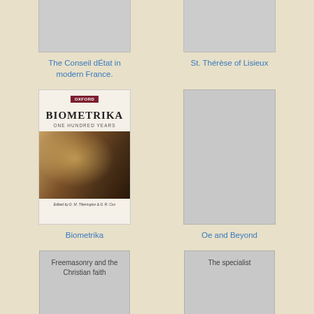[Figure (illustration): Book cover placeholder (grey rectangle) for The Conseil dEtat in modern France]
The Conseil dÉtat in modern France.
[Figure (illustration): Book cover placeholder (grey rectangle) for St. Thérèse of Lisieux]
St. Thérèse of Lisieux
[Figure (photo): Book cover of Biometrika: One Hundred Years, Oxford University Press, edited by D.M. Titterington & D.R. Cox, showing a battle scene painting]
Biometrika
[Figure (illustration): Book cover placeholder (grey rectangle) for Oe and Beyond]
Oe and Beyond
[Figure (illustration): Book cover placeholder with text Freemasonry and the Christian faith]
[Figure (illustration): Book cover placeholder with text The specialist]